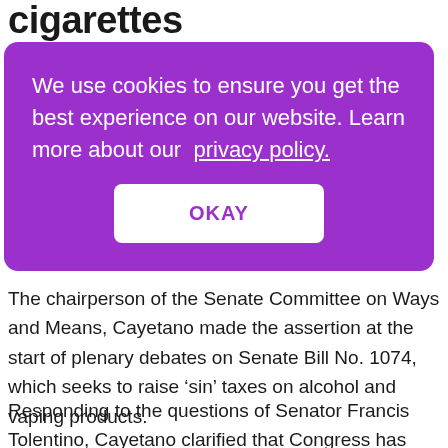cigarettes
We use cookies to ensure you get the best experience on our website. Learn more about our privacy policy.
OKAY
The chairperson of the Senate Committee on Ways and Means, Cayetano made the assertion at the start of plenary debates on Senate Bill No. 1074, which seeks to raise ‘sin’ taxes on alcohol and vaping products.
Responding to the questions of Senator Francis Tolentino, Cayetano clarified that Congress has